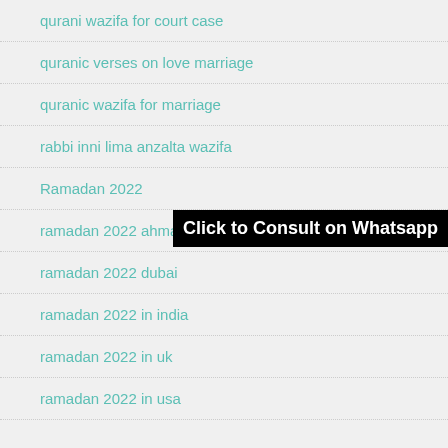qurani wazifa for court case
quranic verses on love marriage
quranic wazifa for marriage
rabbi inni lima anzalta wazifa
Ramadan 2022
ramadan 2022 ahmadiyy
ramadan 2022 dubai
ramadan 2022 in india
ramadan 2022 in uk
ramadan 2022 in usa